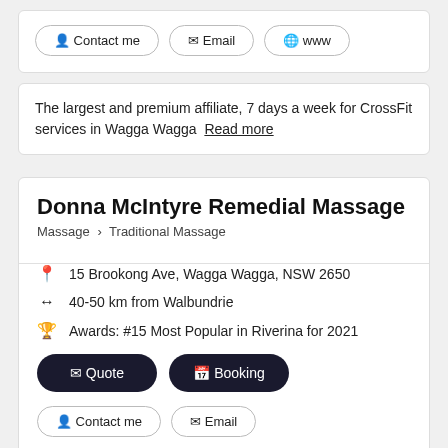Contact me | Email | www (buttons)
The largest and premium affiliate, 7 days a week for CrossFit services in Wagga Wagga  Read more
Donna McIntyre Remedial Massage
Massage > Traditional Massage
15 Brookong Ave, Wagga Wagga, NSW 2650
40-50 km from Walbundrie
Awards: #15 Most Popular in Riverina for 2021
Quote | Booking (buttons)
Contact me | Email (buttons)